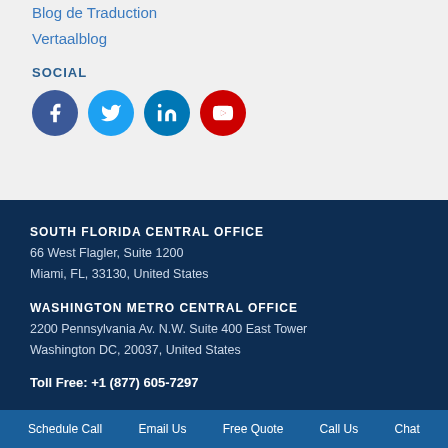Blog de Traduction
Vertaalblog
SOCIAL
[Figure (infographic): Social media icons: Facebook (dark blue), Twitter (light blue), LinkedIn (blue), YouTube (red)]
SOUTH FLORIDA CENTRAL OFFICE
66 West Flagler, Suite 1200
Miami, FL, 33130, United States
WASHINGTON METRO CENTRAL OFFICE
2200 Pennsylvania Av. N.W. Suite 400 East Tower
Washington DC, 20037, United States
Toll Free: +1 (877) 605-7297
Schedule Call   Email Us   Free Quote   Call Us   Chat